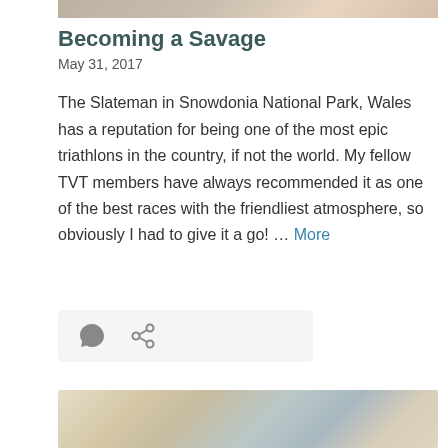[Figure (photo): Top portion of a photograph, cropped at the top of the page]
Becoming a Savage
May 31, 2017
The Slateman in Snowdonia National Park, Wales has a reputation for being one of the most epic triathlons in the country, if not the world. My fellow TVT members have always recommended it as one of the best races with the friendliest atmosphere, so obviously I had to give it a go! … More
[Figure (other): Icon bar with comment and share icons on a light grey background]
[Figure (photo): Bottom portion of a landscape/nature photograph showing sandy or rocky terrain with some water and sky visible]